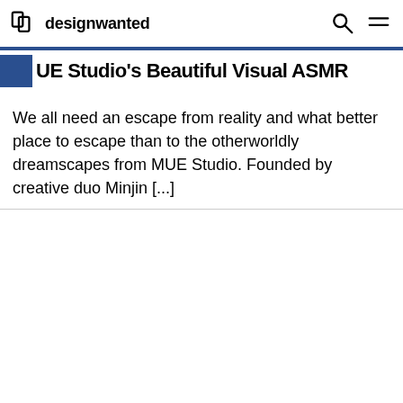designwanted
UE Studio's Beautiful Visual ASMR
We all need an escape from reality and what better place to escape than to the otherworldly dreamscapes from MUE Studio. Founded by creative duo Minjin [...]
[Figure (other): Lower half of page — white/blank area below a horizontal divider line]